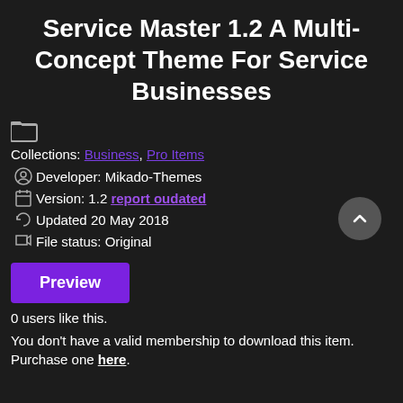Service Master 1.2 A Multi-Concept Theme For Service Businesses
[Figure (other): Folder icon]
Collections: Business, Pro Items
Developer: Mikado-Themes
Version: 1.2 report oudated
Updated 20 May 2018
File status: Original
Preview (button)
0 users like this.
You don't have a valid membership to download this item. Purchase one here.